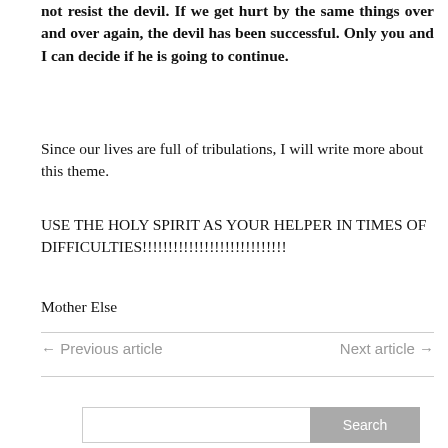not resist the devil. If we get hurt by the same things over and over again, the devil has been successful. Only you and I can decide if he is going to continue.
Since our lives are full of tribulations, I will write more about this theme.
USE THE HOLY SPIRIT AS YOUR HELPER IN TIMES OF DIFFICULTIES!!!!!!!!!!!!!!!!!!!!!!!!!!!
Mother Else
← Previous article    Next article →
Search